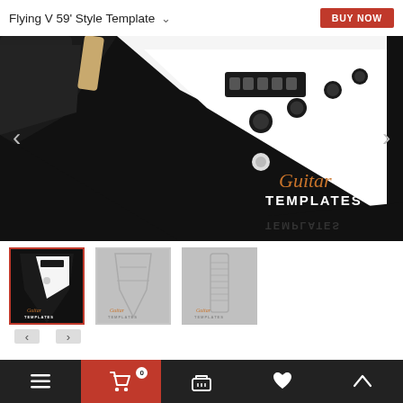Flying V 59' Style Template
[Figure (photo): Close-up product photo of a Flying V 59 style guitar template showing the black body, white pickguard with pickups and knobs, and Guitar Templates logo watermark in the lower right corner. Navigation arrows on left and right sides.]
[Figure (photo): Thumbnail 1 (active/selected): Full-body view of Flying V 59 style black guitar template with white pickguard, Guitar Templates watermark]
[Figure (photo): Thumbnail 2: Guitar body template outline on grey background with Guitar Templates watermark]
[Figure (photo): Thumbnail 3: Guitar neck/fretboard template outline on grey background with Guitar Templates watermark]